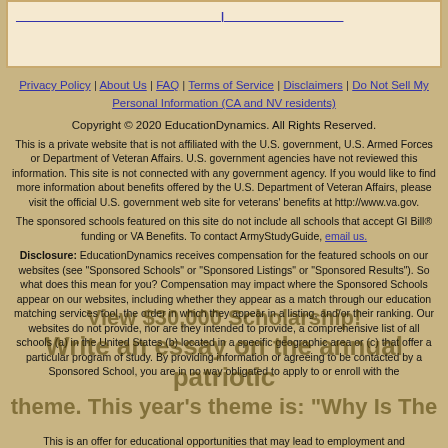[Figure (other): Top box with a link/image placeholder for scholarship or form]
Privacy Policy | About Us | FAQ | Terms of Service | Disclaimers | Do Not Sell My Personal Information (CA and NV residents)
Copyright © 2020 EducationDynamics. All Rights Reserved.
This is a private website that is not affiliated with the U.S. government, U.S. Armed Forces or Department of Veteran Affairs. U.S. government agencies have not reviewed this information. This site is not connected with any government agency. If you would like to find more information about benefits offered by the U.S. Department of Veteran Affairs, please visit the official U.S. government web site for veterans' benefits at http://www.va.gov.
The sponsored schools featured on this site do not include all schools that accept GI Bill® funding or VA Benefits. To contact ArmyStudyGuide, email us.
Disclosure: EducationDynamics receives compensation for the featured schools on our websites (see "Sponsored Schools" or "Sponsored Listings" or "Sponsored Results"). So what does this mean for you? Compensation may impact where the Sponsored Schools appear on our websites, including whether they appear as a match through our education matching services tool, the order in which they appear in a listing, and/or their ranking. Our websites do not provide, nor are they intended to provide, a comprehensive list of all schools (a) in the United States (b) located in a specific geographic area or (c) that offer a particular program of study. By providing information or agreeing to be contacted by a Sponsored School, you are in no way obligated to apply to or enroll with the school.
View $30,000 Scholarship!
Write an essay on the annual patriotic theme. This year's theme is: "Why Is The..."
This is an offer for educational opportunities that may lead to employment and